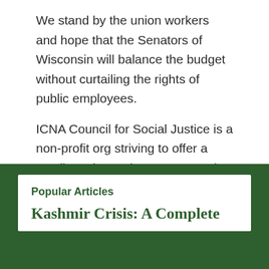We stand by the union workers and hope that the Senators of Wisconsin will balance the budget without curtailing the rights of public employees.
ICNA Council for Social Justice is a non-profit org striving to offer a Muslim voice on issues concerning social justice affecting our society.
—End—
Popular Articles
Kashmir Crisis: A Complete